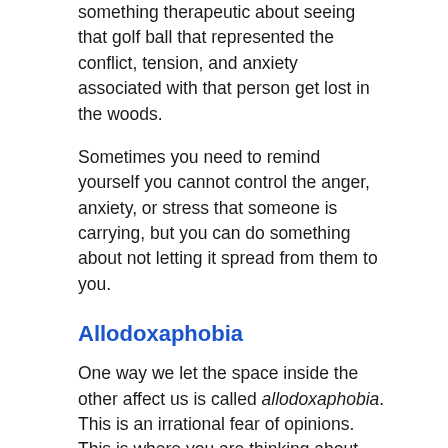something therapeutic about seeing that golf ball that represented the conflict, tension, and anxiety associated with that person get lost in the woods.
Sometimes you need to remind yourself you cannot control the anger, anxiety, or stress that someone is carrying, but you can do something about not letting it spread from them to you.
Allodoxaphobia
One way we let the space inside the other affect us is called allodoxaphobia. This is an irrational fear of opinions. This is where you are thinking about what they are thinking about. A people pleaser will spend too much time thinking, “I wonder what they think about me?” You are at work, someone walks by and gives you a look, then your mind begins trying to decipher that look. Whether they meant anything about the look is not the issue. The issue is...